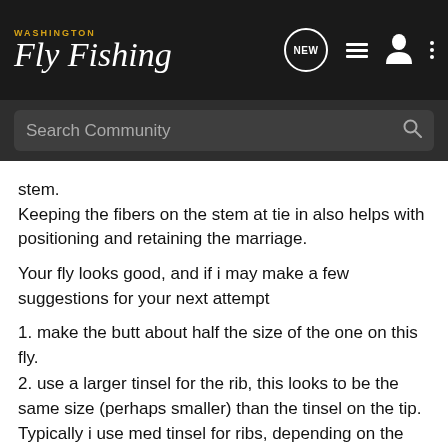WASHINGTON Fly Fishing
Search Community
stem.
Keeping the fibers on the stem at tie in also helps with positioning and retaining the marriage.
Your fly looks good, and if i may make a few suggestions for your next attempt
1. make the butt about half the size of the one on this fly.
2. use a larger tinsel for the rib, this looks to be the same size (perhaps smaller) than the tinsel on the tip. Typically i use med tinsel for ribs, depending on the size of the fly/hook - this hook could certainly take med tinsel.
3. Try to keeps the sides - in this case, woodie and jc, above the plane of the hook shank.
4. try to keep the hackle more swept back, rather than down like they are here. Fold the hackles, and use 2-3 turns of the